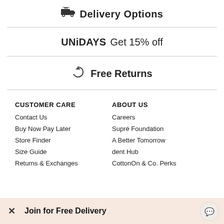Delivery Options
UNiDAYS  Get 15% off
Free Returns
CUSTOMER CARE
Contact Us
Buy Now Pay Later
Store Finder
Size Guide
Returns & Exchanges
ABOUT US
Careers
Supré Foundation
A Better Tomorrow
dent Hub
CottonOn & Co. Perks
Join for Free Delivery